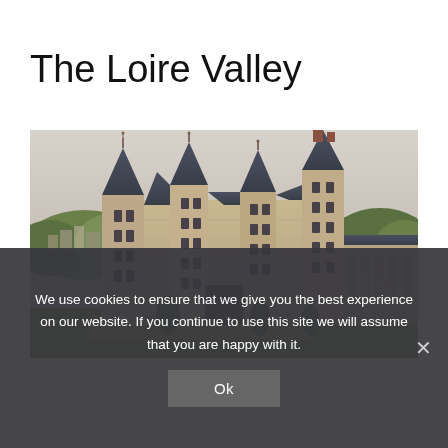The Loire Valley
[Figure (photo): Aerial/wide-angle photograph of the Château de Langeais in the Loire Valley, France. A large medieval-Renaissance stone castle with multiple towers, steep slate roofs with decorative finials, and arched arcades along the right wing. The town of Langeais is visible in the background with trees and a pale overcast sky.]
We use cookies to ensure that we give you the best experience on our website. If you continue to use this site we will assume that you are happy with it.